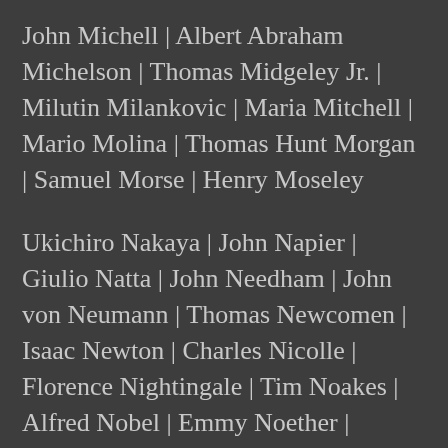John Michell | Albert Abraham Michelson | Thomas Midgeley Jr. | Milutin Milankovic | Maria Mitchell | Mario Molina | Thomas Hunt Morgan | Samuel Morse | Henry Moseley
Ukichiro Nakaya | John Napier | Giulio Natta | John Needham | John von Neumann | Thomas Newcomen | Isaac Newton | Charles Nicolle | Florence Nightingale | Tim Noakes | Alfred Nobel | Emmy Noether | Christiane Nusslein-Volhard | Bill Nye
Hans Christian Oersted | Georg Ohm | J. Robert Oppenheimer | Wilhelm Ostwald | William Oughtred